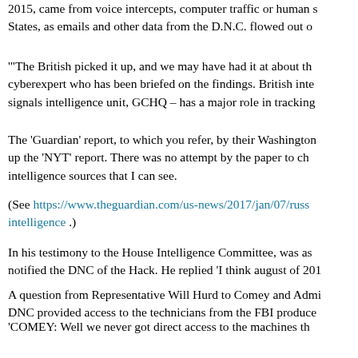2015, came from voice intercepts, computer traffic or human s... States, as emails and other data from the D.N.C. flowed out o...
'‘The British picked it up, and we may have had it at about th... cyberexpert who has been briefed on the findings. British inte... signals intelligence unit, GCHQ – has a major role in tracking...
The ‘Guardian’ report, to which you refer, by their Washington... up the ‘NYT’ report. There was no attempt by the paper to ch... intelligence sources that I can see.
(See https://www.theguardian.com/us-news/2017/jan/07/russ... intelligence .)
In his testimony to the House Intelligence Committee, was as... notified the DNC of the Hack. He replied ‘I think august of 201...
A question from Representative Will Hurd to Comey and Admi... DNC provided access to the technicians from the FBI produce...
‘COMEY: Well we never got direct access to the machines th... spring of 2016 hired a firm that ultimately shared with us thei... of the system.
‘HURD: Director Rogers, did the NSA ever get access to the D...